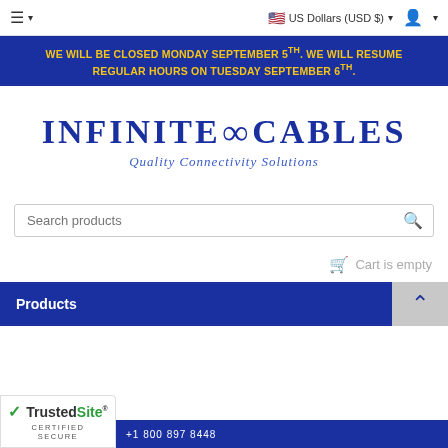US Dollars (USD $)
WE WILL BE CLOSED MONDAY SEPTEMBER 5TH. WE WILL RESUME REGULAR HOURS ON TUESDAY SEPTEMBER 6TH.
[Figure (logo): Infinite Cables logo with infinity knot symbol. Text reads: INFINITE CABLES, Quality Connectivity Solutions]
Search products
Cart is empty
Products
[Figure (logo): TrustedSite Certified Secure badge with green checkmark]
+1 800 897 8448